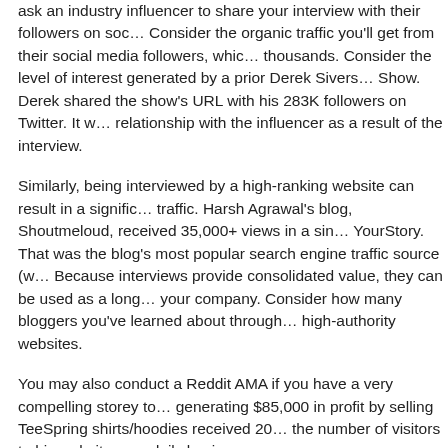ask an industry influencer to share your interview with their followers on social media. Consider the organic traffic you'll get from their social media followers, which could be in the thousands. Consider the level of interest generated by a prior Derek Sivers appearance on The Show. Derek shared the show's URL with his 283K followers on Twitter. It was possible to build a relationship with the influencer as a result of the interview.
Similarly, being interviewed by a high-ranking website can result in a significant increase in traffic. Harsh Agrawal's blog, Shoutmeloud, received 35,000+ views in a single day after being on YourStory. That was the blog's most popular search engine traffic source (within a single day). Because interviews provide consolidated value, they can be used as a long-term traffic source for your company. Consider how many bloggers you've learned about through interviews they gave on high-authority websites.
You may also conduct a Reddit AMA if you have a very compelling storey to tell. Someone generating $85,000 in profit by selling TeeSpring shirts/hoodies received 200K+ visitors and doubled the number of visitors to his website on a daily basis.
By registering as a source with HARO, you can also answer queries from journalists. Someone from Snappa came across this question from Inc Magazine about the future of graphic design and responded with a thorough response. He was mentioned in Inc a few weeks later. HARO is clearly an excellent strategy to have your brand mentioned on authoritative news s